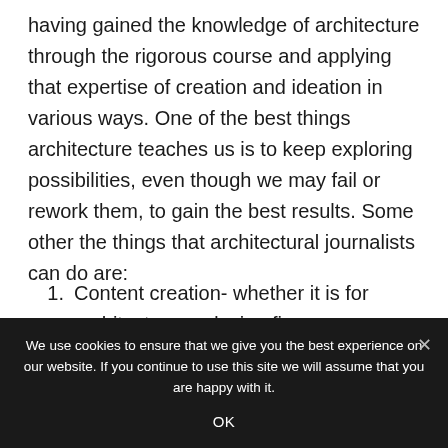having gained the knowledge of architecture through the rigorous course and applying that expertise of creation and ideation in various ways. One of the best things architecture teaches us is to keep exploring possibilities, even though we may fail or rework them, to gain the best results. Some other the things that architectural journalists can do are:
Content creation- whether it is for architecture or design firms or some other firm, the base idea behind content creation is to ideate and
We use cookies to ensure that we give you the best experience on our website. If you continue to use this site we will assume that you are happy with it.
OK